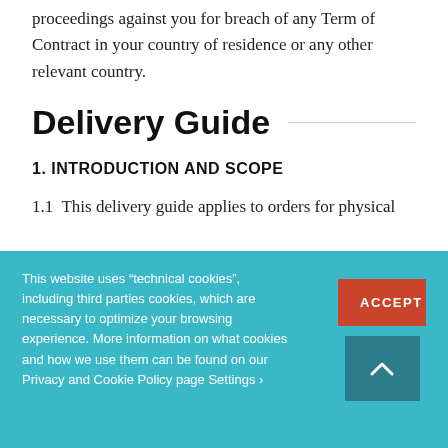proceedings against you for breach of any Term of Contract in your country of residence or any other relevant country.
Delivery Guide
1. INTRODUCTION AND SCOPE
1.1  This delivery guide applies to orders for physical
This website uses “technical cookies”, including third parties cookies, which are necessary to optimize your browsing experience. More information on what cookies and how we use them can be found on our Privacy and Cookie Policy page Settings ›